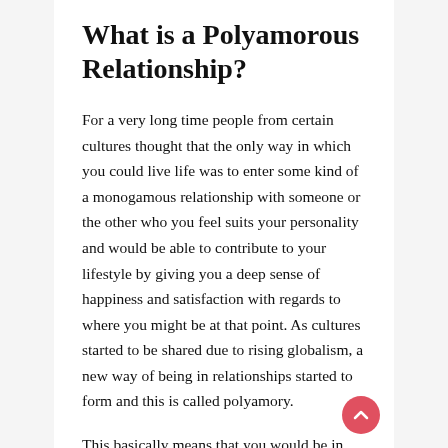What is a Polyamorous Relationship?
For a very long time people from certain cultures thought that the only way in which you could live life was to enter some kind of a monogamous relationship with someone or the other who you feel suits your personality and would be able to contribute to your lifestyle by giving you a deep sense of happiness and satisfaction with regards to where you might be at that point. As cultures started to be shared due to rising globalism, a new way of being in relationships started to form and this is called polyamory.
This basically means that you would be in